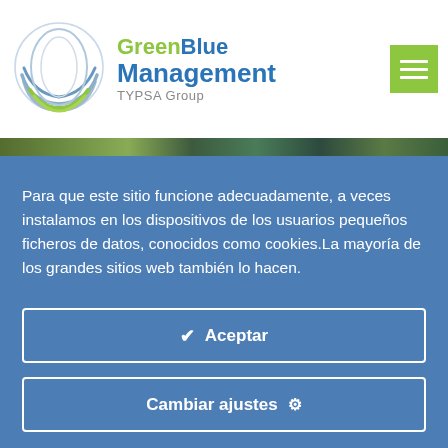[Figure (logo): GreenBlue Management TYPSA Group logo with circular swoosh graphic on the left and brand name text on the right, plus a green hamburger menu icon in the top right corner]
[Figure (photo): Narrow horizontal image strip showing a green landscape/nature scene]
Para que este sitio funcione adecuadamente, a veces instalamos en los dispositivos de los usuarios pequeños ficheros de datos, conocidos como cookies.La mayoría de los grandes sitios web también lo hacen.
✔  Aceptar
Cambiar ajustes  ⚙